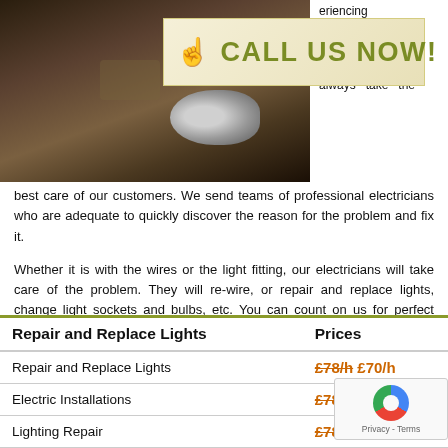[Figure (photo): Photo of electrical equipment on a wooden surface, partially visible behind banner]
☝ CALL US NOW!
experiencing with their lighting installation or light fittings. We always take the best care of our customers. We send teams of professional electricians who are adequate to quickly discover the reason for the problem and fix it.
Whether it is with the wires or the light fitting, our electricians will take care of the problem. They will re-wire, or repair and replace lights, change light sockets and bulbs, etc. You can count on us for perfect results and budget friendly prices. Call us now.
| Repair and Replace Lights | Prices |
| --- | --- |
| Repair and Replace Lights | £78/h £70/h |
| Electric Installations | £78/h £70/h |
| Lighting Repair | £78/h £70/h |